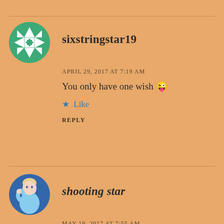[Figure (illustration): Circular avatar with green background and white geometric/snowflake quilt pattern for user sixstringstar19]
sixstringstar19
APRIL 29, 2017 AT 7:19 AM
You only have one wish 😜
★ Like
REPLY
[Figure (photo): Circular avatar showing animated character Elsa from Frozen in a blue dress]
shooting star
MAY 19, 2017 AT 7:55 AM
He is a great writer. I just read his book